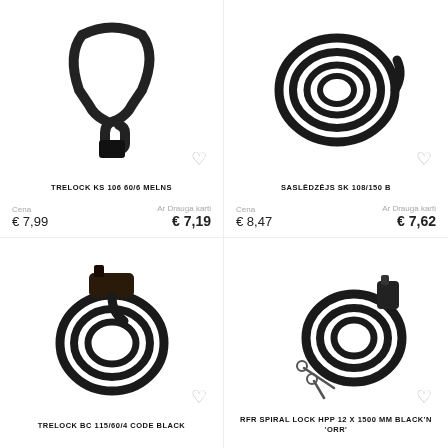[Figure (photo): Trelock KS 106 60/6 black cable bike lock — U-shaped cable on white background]
TRELOCK KS 106 60/6 MELNS
Cena € 7,99 | Ar Drauga karti € 7,19
[Figure (photo): Saslēdzējs SK 108/150 B — coiled spiral cable lock on white background]
SASLĒDZĒJS SK 108/150 B
Cena € 8,47 | Ar Drauga karti € 7,62
[Figure (photo): Trelock BC 115/60/4 Code Black — coiled cable lock with combination head on white background]
TRELOCK BC 115/60/4 CODE BLACK
[Figure (photo): RFR Spiral Lock HPP 12 x 1500 mm Black'n — coiled cable lock with key lock and two keys on white background]
RFR SPIRAL LOCK HPP 12 X 1500 MM BLACK'N 'ORR'